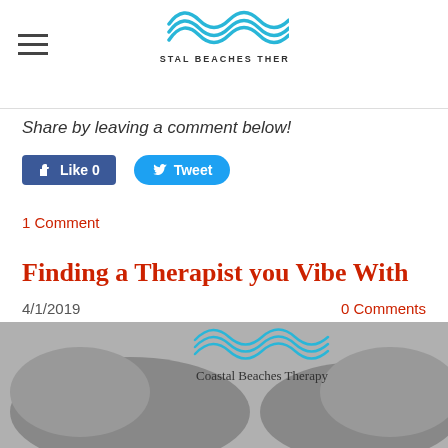Coastal Beaches Therapy
Share by leaving a comment below!
[Figure (screenshot): Facebook Like button showing 'Like 0' and Twitter Tweet button]
1 Comment
Finding a Therapist you Vibe With
4/1/2019    0 Comments
[Figure (photo): Blog post image showing two hands with puzzle pieces and Coastal Beaches Therapy logo overlay]